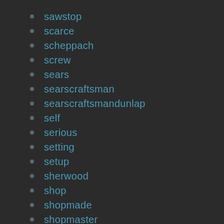sawstop
scarce
scheppach
screw
sears
searscraftsman
searscraftsmandunlap
self
serious
setting
setup
sherwood
shop
shopmade
shopmaster